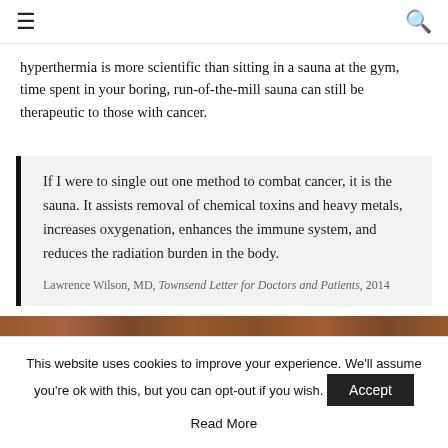≡  🔍
hyperthermia is more scientific than sitting in a sauna at the gym, time spent in your boring, run-of-the-mill sauna can still be therapeutic to those with cancer.
If I were to single out one method to combat cancer, it is the sauna. It assists removal of chemical toxins and heavy metals, increases oxygenation, enhances the immune system, and reduces the radiation burden in the body. Lawrence Wilson, MD, Townsend Letter for Doctors and Patients, 2014
[Figure (photo): Wooden sauna interior photo strip]
This website uses cookies to improve your experience. We'll assume you're ok with this, but you can opt-out if you wish. Accept Read More